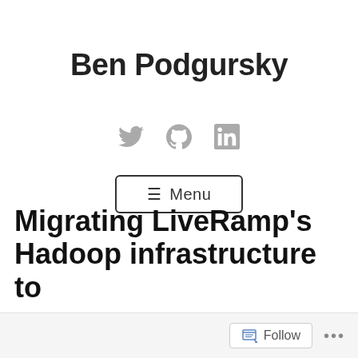Ben Podgursky
[Figure (other): Social media icons: Twitter bird, GitHub Octocat, LinkedIn logo]
☰ Menu
Migrating LiveRamp's Hadoop infrastructure to
Follow ...